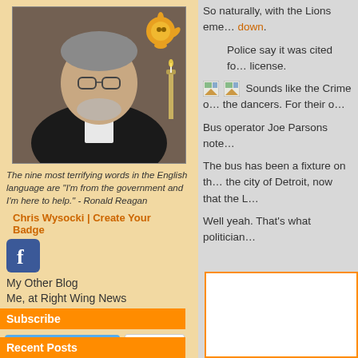[Figure (photo): Profile photo of a man in a tuxedo with glasses and beard, with decorative sun art visible in background]
The nine most terrifying words in the English language are "I'm from the government and I'm here to help." - Ronald Reagan
Chris Wysocki | Create Your Badge
[Figure (logo): Facebook logo icon - blue square with white F]
My Other Blog
Me, at Right Wing News
Subscribe
Follow @WyBlog   646 followers
[Figure (logo): RSS feed orange icon]
Recent Posts
So naturally, with the Lions eme... down.
Police say it was cited fo... license.
Sounds like the Crime o... the dancers. For their o...
Bus operator Joe Parsons note...
The bus has been a fixture on th... the city of Detroit, now that the L...
Well yeah. That's what politician...